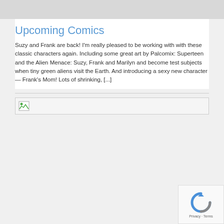Upcoming Comics
Suzy and Frank are back! I'm really pleased to be working with with these classic characters again. Including some great art by Palcomix: Superteen and the Alien Menace: Suzy, Frank and Marilyn and become test subjects when tiny green aliens visit the Earth. And introducing a sexy new character — Frank's Mom! Lots of shrinking, [...]
[Figure (other): Broken image placeholder showing a small image icon with a border]